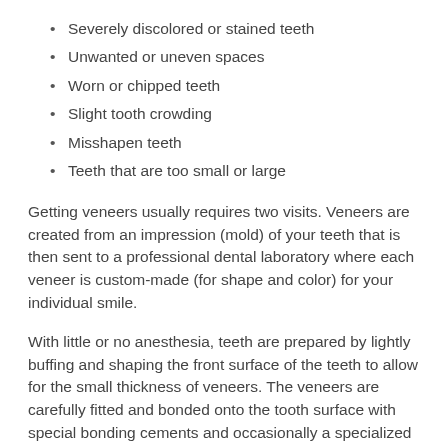Severely discolored or stained teeth
Unwanted or uneven spaces
Worn or chipped teeth
Slight tooth crowding
Misshapen teeth
Teeth that are too small or large
Getting veneers usually requires two visits. Veneers are created from an impression (mold) of your teeth that is then sent to a professional dental laboratory where each veneer is custom-made (for shape and color) for your individual smile.
With little or no anesthesia, teeth are prepared by lightly buffing and shaping the front surface of the teeth to allow for the small thickness of veneers. The veneers are carefully fitted and bonded onto the tooth surface with special bonding cements and occasionally a specialized light may be used to harden and set the bond.
Veneers are an excellent dental treatment that can